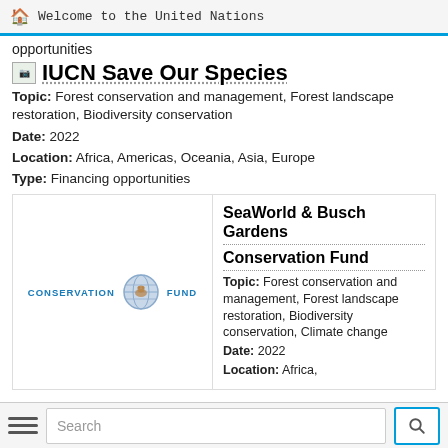Welcome to the United Nations
opportunities
IUCN Save Our Species
Topic: Forest conservation and management, Forest landscape restoration, Biodiversity conservation
Date: 2022
Location: Africa, Americas, Oceania, Asia, Europe
Type: Financing opportunities
[Figure (logo): SeaWorld & Busch Gardens Conservation Fund logo with globe graphic and text 'CONSERVATION FUND']
SeaWorld & Busch Gardens Conservation Fund
Topic: Forest conservation and management, Forest landscape restoration, Biodiversity conservation, Climate change
Date: 2022
Location: Africa,
Search